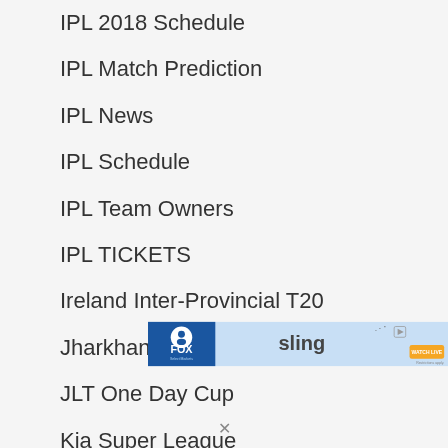IPL 2018 Schedule
IPL Match Prediction
IPL News
IPL Schedule
IPL Team Owners
IPL TICKETS
Ireland Inter-Provincial T20
Jharkhand T20 League
JLT One Day Cup
Kia Super League
KPI
[Figure (other): FOX Sports / Sling TV advertisement banner with 'WATCH LIVE' button]